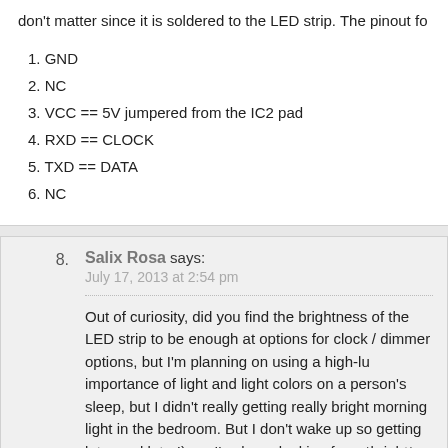don't matter since it is soldered to the LED strip. The pinout fo
1. GND
2. NC
3. VCC == 5V jumpered from the IC2 pad
4. RXD == CLOCK
5. TXD == DATA
6. NC
8. Salix Rosa says: July 17, 2013 at 2:54 pm
Out of curiosity, did you find the brightness of the LED strip to be enough at options for clock / dimmer options, but I'm planning on using a high-lu importance of light and light colors on a person's sleep, but I didn't really getting really bright morning light in the bedroom. But I don't wake up so getting later and later!), so I've been looking for a *bright* ~5000K light s sun.